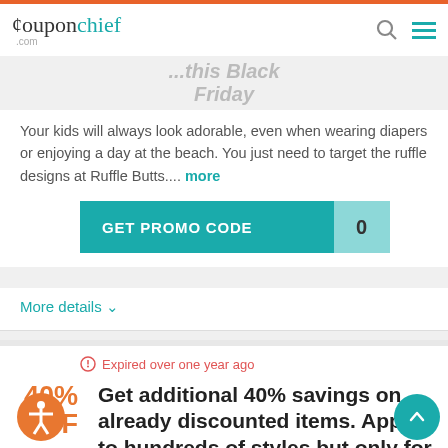couponchief.com
Your kids will always look adorable, even when wearing diapers or enjoying a day at the beach. You just need to target the ruffle designs at Ruffle Butts.... more
GET PROMO CODE 0
More details
Expired over one year ago
40% OFF
Get additional 40% savings on already discounted items. Applies to hundreds of styles but only for a few days.